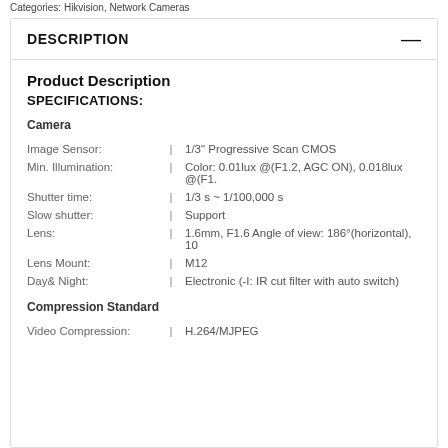Categories: Hikvision, Network Cameras
DESCRIPTION
Product Description
SPECIFICATIONS:
Camera
| Attribute |  | Value |
| --- | --- | --- |
| Image Sensor: | | | 1/3" Progressive Scan CMOS |
| Min. Illumination: | | | Color: 0.01lux @(F1.2, AGC ON), 0.018lux @(F1... |
| Shutter time: | | | 1/3 s ~ 1/100,000 s |
| Slow shutter: | | | Support |
| Lens: | | | 1.6mm, F1.6 Angle of view: 186°(horizontal), 10... |
| Lens Mount: | | | M12 |
| Day& Night: | | | Electronic (-I: IR cut filter with auto switch) |
Compression Standard
| Attribute |  | Value |
| --- | --- | --- |
| Video Compression: | | | H.264/MJPEG |